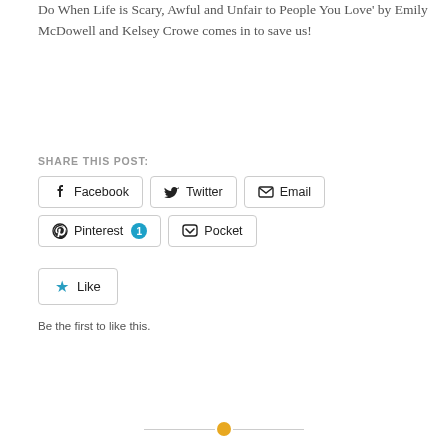Do When Life is Scary, Awful and Unfair to People You Love' by Emily McDowell and Kelsey Crowe comes in to save us!
SHARE THIS POST:
Facebook Twitter Email Pinterest 1 Pocket
Like
Be the first to like this.